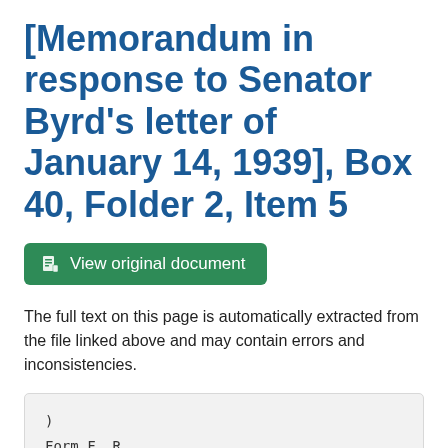[Memorandum in response to Senator Byrd's letter of January 14, 1939], Box 40, Folder 2, Item 5
View original document
The full text on this page is automatically extracted from the file linked above and may contain errors and inconsistencies.
)
Form F. R.

511(a)